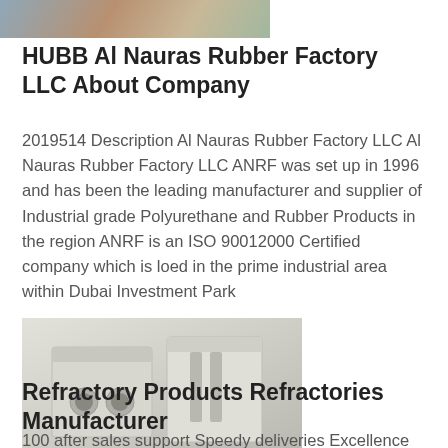[Figure (photo): Partial photo of rubber/industrial products at the top of the page]
HUBB Al Nauras Rubber Factory LLC About Company
2019514 Description Al Nauras Rubber Factory LLC Al Nauras Rubber Factory LLC ANRF was set up in 1996 and has been the leading manufacturer and supplier of Industrial grade Polyurethane and Rubber Products in the region ANRF is an ISO 90012000 Certified company which is loed in the prime industrial area within Dubai Investment Park
[Figure (photo): Photo of white refractory or rubber corner bracket components with holes]
Refractory Products Refractories Manufacturer
100 after sales support Speedy deliveries Excellence